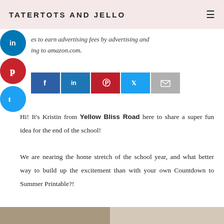TATERTOTS AND JELLO
es to earn advertising fees by advertising and ing to amazon.com.
[Figure (infographic): Social sharing sidebar buttons (LinkedIn, Pinterest, Twitter circles) and horizontal share bar (Facebook, LinkedIn, Pinterest, Twitter, Email)]
Hi! It's Kristin from Yellow Bliss Road here to share a super fun idea for the end of the school!
We are nearing the home stretch of the school year, and what better way to build up the excitement than with your own Countdown to Summer Printable?!
[Figure (photo): Partial bottom image strip, appears to be a lifestyle/craft photo]